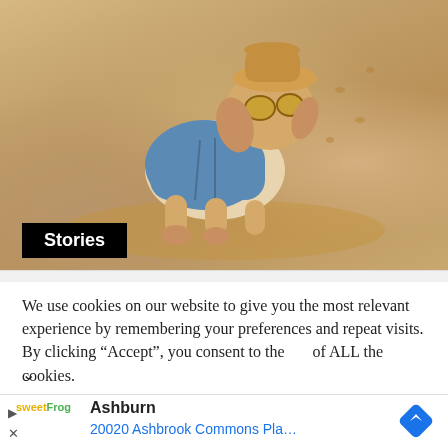[Figure (photo): A dog wearing a blue denim outfit and gold sunglasses and a hat, playing or digging in sandy beach. The dog appears to be a beagle or similar breed. Sandy beach background with footprints visible.]
Stories
We use cookies on our website to give you the most relevant experience by remembering your preferences and repeat visits. By clicking “Accept”, you consent to the [use] of ALL the cookies.
Ashburn
20020 Ashbrook Commons Pla...